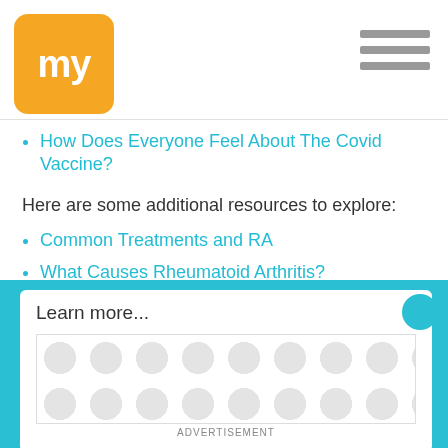my
How Does Everyone Feel About The Covid Vaccine?
Here are some additional resources to explore:
Common Treatments and RA
What Causes Rheumatoid Arthritis?
On Living with Acute Chronic Pain: Please Don’t Treat Me Like a Drug Addict!
What Caroline Wozniacki’s RA Diagnosis Does for the Rest of Us
Addiction Suspicion and RA
Learn more...
[Figure (other): Advertisement placeholder banner with circular dot pattern]
ADVERTISEMENT